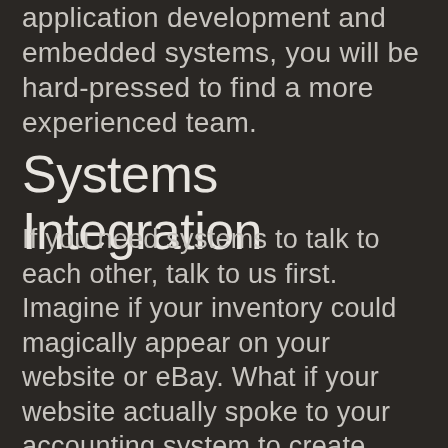application development and embedded systems, you will be hard-pressed to find a more experienced team.
Systems Integration
If you need systems to talk to each other, talk to us first. Imagine if your inventory could magically appear on your website or eBay. What if your website actually spoke to your accounting system to create invoices? We are well-versed in systems integration to reduce double handling, data entry, and manual processes.